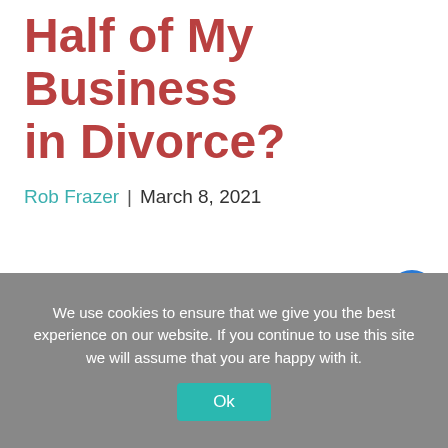Half of My Business in Divorce?
Rob Frazer | March 8, 2021
[Figure (other): Accessibility icon button (person with arms spread in circle) in blue circle, positioned at right side of page]
We use cookies to ensure that we give you the best experience on our website. If you continue to use this site we will assume that you are happy with it.
Ok